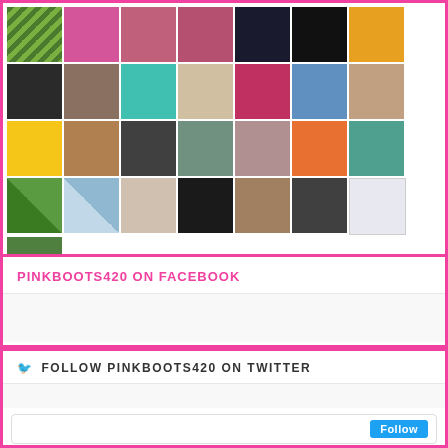[Figure (photo): Grid of social media avatar/profile images, approximately 21 thumbnail images arranged in rows]
PINKBOOTS420 ON FACEBOOK
[Figure (screenshot): Facebook widget embed area (blank/loading)]
FOLLOW PINKBOOTS420 ON TWITTER
[Figure (screenshot): Twitter follow widget with Follow button]